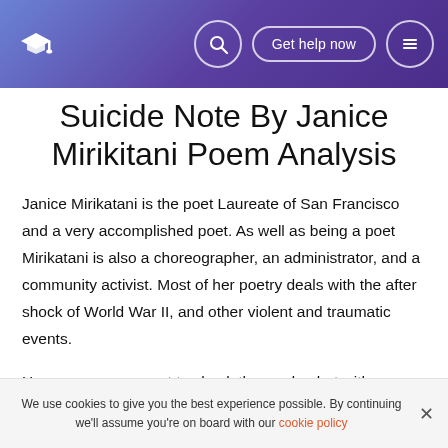Suicide Note By Janice Mirikitani Poem Analysis — navigation header with logo, search, Get help now button, and menu icon
Suicide Note By Janice Mirikitani Poem Analysis
Janice Mirikatani is the poet Laureate of San Francisco and a very accomplished poet. As well as being a poet Mirikatani is also a choreographer, an administrator, and a community activist. Most of her poetry deals with the after shock of World War II, and other violent and traumatic events.
Her poems are meant to shock the reader, but with a specific purpose. One such poem is “Suicide Note” written in
We use cookies to give you the best experience possible. By continuing we'll assume you're on board with our cookie policy